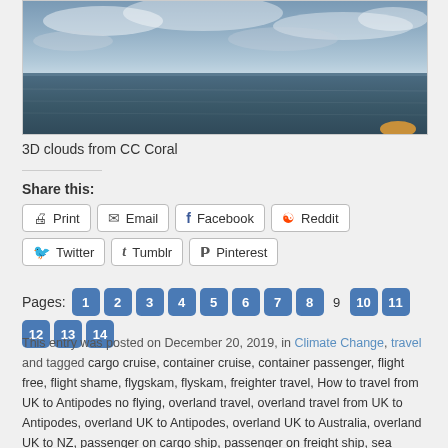[Figure (photo): Ocean photo showing dark blue sea with cloudy sky, taken from a ship, with a small orange object visible at bottom right corner]
3D clouds from CC Coral
Share this:
Print | Email | Facebook | Reddit | Twitter | Tumblr | Pinterest
Pages: 1 2 3 4 5 6 7 8 9 10 11 12 13 14
This entry was posted on December 20, 2019, in Climate Change, travel and tagged cargo cruise, container cruise, container passenger, flight free, flight shame, flygskam, flyskam, freighter travel, How to travel from UK to Antipodes no flying, overland travel, overland travel from UK to Antipodes, overland UK to Antipodes, overland UK to Australia, overland UK to NZ, passenger on cargo ship, passenger on freight ship, sea travel. Bookmark the permalink.